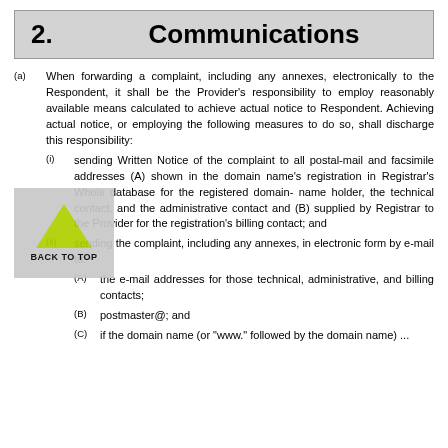2.    Communications
(a) When forwarding a complaint, including any annexes, electronically to the Respondent, it shall be the Provider's responsibility to employ reasonably available means calculated to achieve actual notice to Respondent. Achieving actual notice, or employing the following measures to do so, shall discharge this responsibility:
(i) sending Written Notice of the complaint to all postal-mail and facsimile addresses (A) shown in the domain name's registration in Registrar's Whois database for the registered domain-name holder, the technical contact, and the administrative contact and (B) supplied by Registrar to the Provider for the registration's billing contact; and
(ii) sending the complaint, including any annexes, in electronic form by e-mail to:
(A) the e-mail addresses for those technical, administrative, and billing contacts;
(B) postmaster@; and
(C) if the domain name (or "www." followed by the domain name) ...